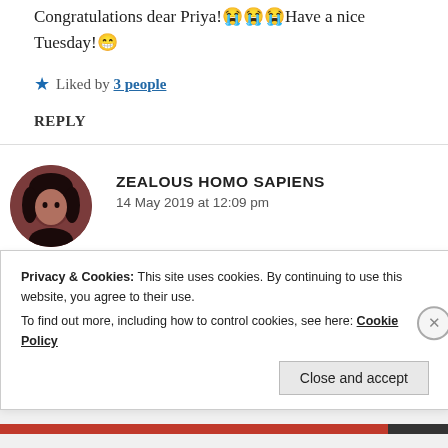Congratulations dear Priya!😭😭😭Have a nice Tuesday!😁
★ Liked by 3 people
REPLY
ZEALOUS HOMO SAPIENS
14 May 2019 at 12:09 pm
Thank you so much, Betty!😀
Privacy & Cookies: This site uses cookies. By continuing to use this website, you agree to their use.
To find out more, including how to control cookies, see here: Cookie Policy
Close and accept